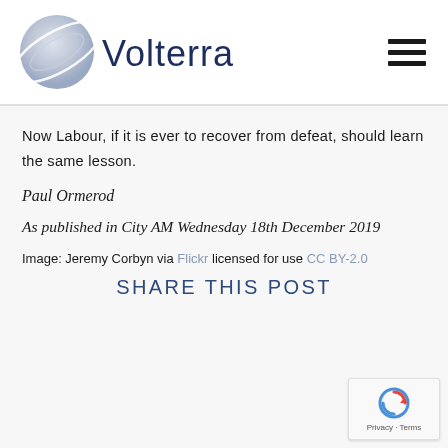[Figure (logo): Volterra company logo with globe/orbital graphic and text 'Volterra' in dark navy blue]
Now Labour, if it is ever to recover from defeat, should learn the same lesson.
Paul Ormerod
As published in City AM Wednesday 18th December 2019
Image: Jeremy Corbyn via Flickr licensed for use CC BY-2.0
SHARE THIS POST
[Figure (logo): Google reCAPTCHA logo with Privacy and Terms text]